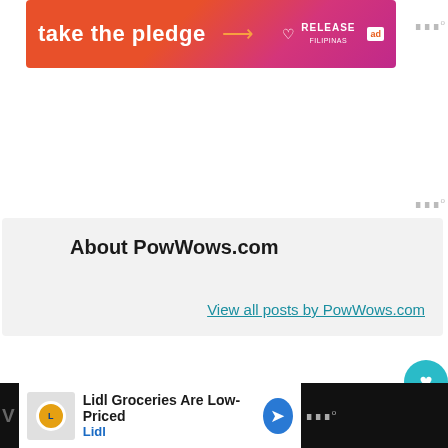[Figure (other): Advertisement banner: 'take the pledge' with arrow and RELEASE logo on orange-pink gradient background with 'ad' badge]
About PowWows.com
View all posts by PowWows.com
0 SHARES
[Figure (other): Social share buttons: Facebook, Twitter, Pinterest, Email]
Explore Native Culture
WHAT'S NEXT → IDLE NO MORE: A Vis...
[Figure (other): Bottom advertisement: Lidl Groceries Are Low-Priced]
Lidl